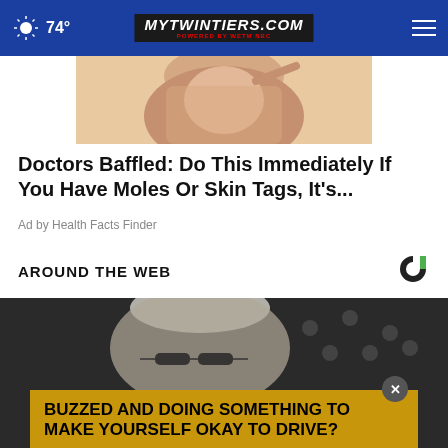74° myTwinTiers.com
[Figure (photo): Woman touching her face/jaw area, used as ad image for skin tag article]
Doctors Baffled: Do This Immediately If You Have Moles Or Skin Tags, It's...
Ad by Health Facts Finder
AROUND THE WEB
[Figure (logo): Taboola logo - circular C shape in black and green]
[Figure (photo): Older woman with white hair and glasses in front of American flag]
BUZZED AND DOING SOMETHING TO MAKE YOURSELF OKAY TO DRIVE?